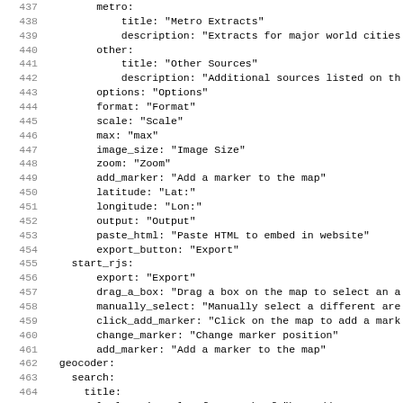Code listing lines 437-468 showing YAML/config content with line numbers, including metro, other, options, format, scale, max, image_size, zoom, add_marker, latitude, longitude, output, paste_html, export_button, start_rjs, geocoder sections